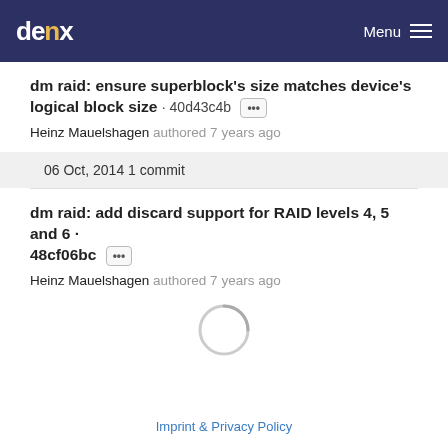denx  Menu
dm raid: ensure superblock's size matches device's logical block size · 40d43c4b ···
Heinz Mauelshagen authored 7 years ago
06 Oct, 2014 1 commit
dm raid: add discard support for RAID levels 4, 5 and 6 · 48cf06bc ···
Heinz Mauelshagen authored 7 years ago
[Figure (other): Loading spinner circle indicator]
Imprint & Privacy Policy